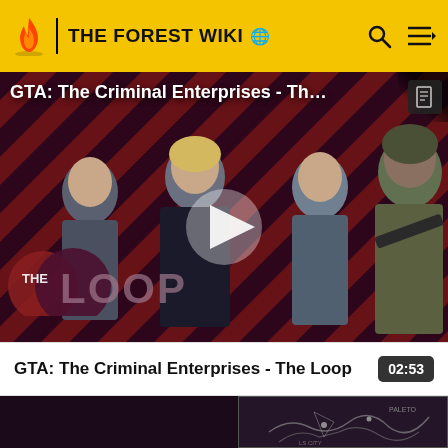THE FOREST WIKI
[Figure (screenshot): Video thumbnail for 'GTA: The Criminal Enterprises - The Loop' showing game characters on a red/black diagonal stripe background with a play button and The Loop logo]
GTA: The Criminal Enterprises - The Loop
02:53
[Figure (screenshot): Partial map image on dark purple background showing location map for GTA]